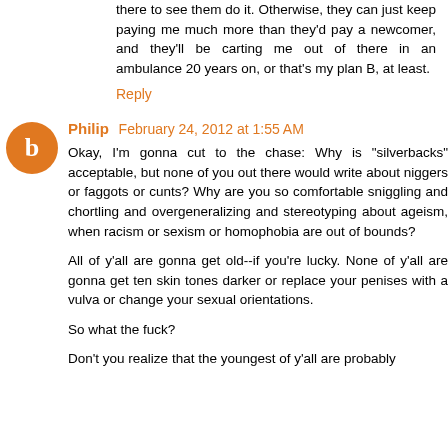there to see them do it. Otherwise, they can just keep paying me much more than they'd pay a newcomer, and they'll be carting me out of there in an ambulance 20 years on, or that's my plan B, at least.
Reply
Philip February 24, 2012 at 1:55 AM
Okay, I'm gonna cut to the chase: Why is "silverbacks" acceptable, but none of you out there would write about niggers or faggots or cunts? Why are you so comfortable sniggling and chortling and overgeneralizing and stereotyping about ageism, when racism or sexism or homophobia are out of bounds?
All of y'all are gonna get old--if you're lucky. None of y'all are gonna get ten skin tones darker or replace your penises with a vulva or change your sexual orientations.
So what the fuck?
Don't you realize that the youngest of y'all are probably